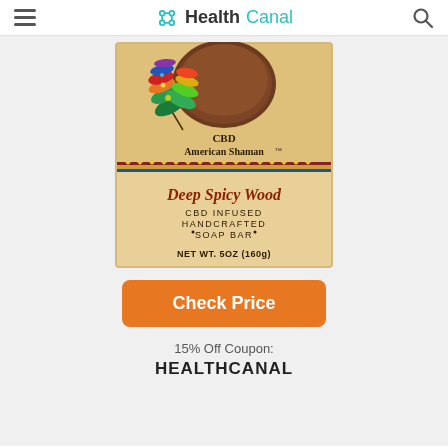HealthCanal
[Figure (photo): CBD American Shaman Deep Spicy Wood CBD Infused Handcrafted Soap Bar, Net Wt. 5oz (160g) product packaging with decorative feather illustration]
Check Price
15% Off Coupon: HEALTHCANAL